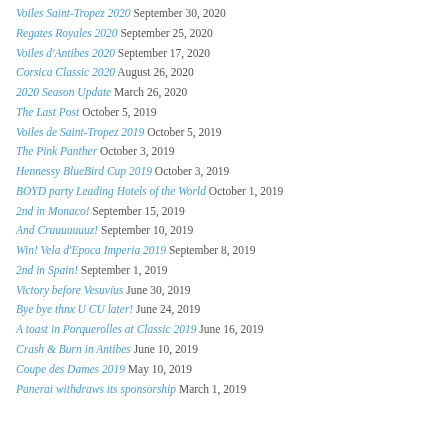Voiles Saint-Tropez 2020 September 30, 2020
Regates Royales 2020 September 25, 2020
Voiles d'Antibes 2020 September 17, 2020
Corsica Classic 2020 August 26, 2020
2020 Season Update March 26, 2020
The Last Post October 5, 2019
Voiles de Saint-Tropez 2019 October 5, 2019
The Pink Panther October 3, 2019
Hennessy BlueBird Cup 2019 October 3, 2019
BOYD party Leading Hotels of the World October 1, 2019
2nd in Monaco! September 15, 2019
And Cruuuuuuuz! September 10, 2019
Win! Vela d'Epoca Imperia 2019 September 8, 2019
2nd in Spain! September 1, 2019
Victory before Vesuvius June 30, 2019
Bye bye thnx U CU later! June 24, 2019
A toast in Porquerolles at Classic 2019 June 16, 2019
Crash & Burn in Antibes June 10, 2019
Coupe des Dames 2019 May 10, 2019
Panerai withdraws its sponsorship March 1, 2019